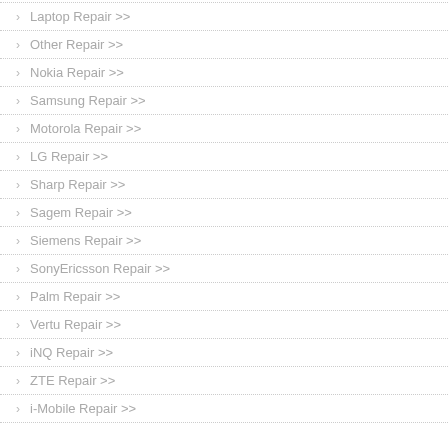Laptop Repair >>
Other Repair >>
Nokia Repair >>
Samsung Repair >>
Motorola Repair >>
LG Repair >>
Sharp Repair >>
Sagem Repair >>
Siemens Repair >>
SonyEricsson Repair >>
Palm Repair >>
Vertu Repair >>
iNQ Repair >>
ZTE Repair >>
i-Mobile Repair >>